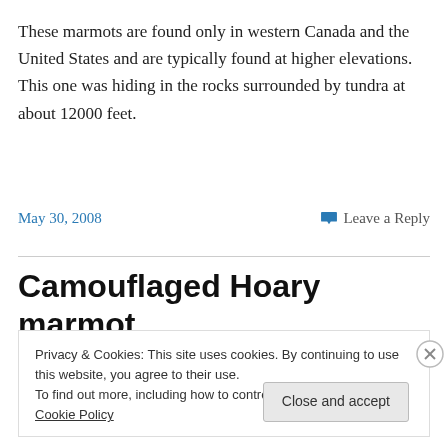These marmots are found only in western Canada and the United States and are typically found at higher elevations. This one was hiding in the rocks surrounded by tundra at about 12000 feet.
May 30, 2008
Leave a Reply
Camouflaged Hoary marmot
Privacy & Cookies: This site uses cookies. By continuing to use this website, you agree to their use.
To find out more, including how to control cookies, see here: Cookie Policy
Close and accept